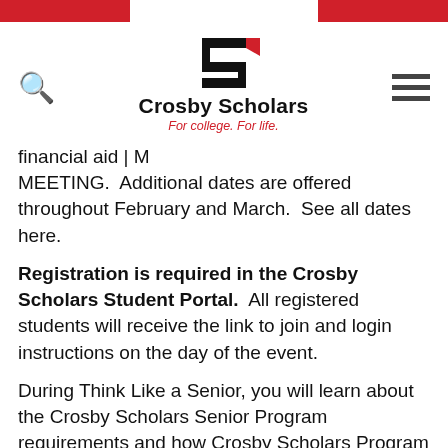[Figure (logo): Crosby Scholars logo with stylized S and tagline 'For college. For life.']
financial aid | M
MEETING.  Additional dates are offered throughout February and March.  See all dates here.
Registration is required in the Crosby Scholars Student Portal.  All registered students will receive the link to join and login instructions on the day of the event.
During Think Like a Senior, you will learn about the Crosby Scholars Senior Program requirements and how Crosby Scholars Program supports you through the college admission and financial aid process–including your enrollment decision!  We will also discuss the Crosby Scholars Senior